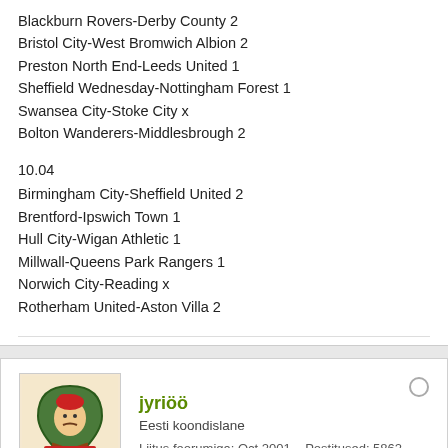Blackburn Rovers-Derby County 2
Bristol City-West Bromwich Albion 2
Preston North End-Leeds United 1
Sheffield Wednesday-Nottingham Forest 1
Swansea City-Stoke City x
Bolton Wanderers-Middlesbrough 2
10.04
Birmingham City-Sheffield United 2
Brentford-Ipswich Town 1
Hull City-Wigan Athletic 1
Millwall-Queens Park Rangers 1
Norwich City-Reading x
Rotherham United-Aston Villa 2
jyriöö
Eesti koondislane
Liitus foorumiga: Oct 2001    Postitused: 5862
04.04.19, 11:08
#529
Kokkuvõtte aeg. 39. vooru võitis lgp mcnamara tubli 9 õigega, kogu